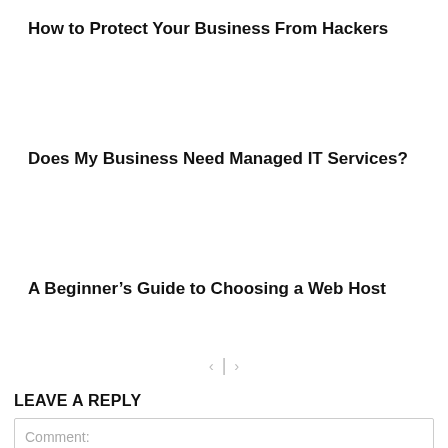How to Protect Your Business From Hackers
Does My Business Need Managed IT Services?
A Beginner’s Guide to Choosing a Web Host
< | >
LEAVE A REPLY
Comment: